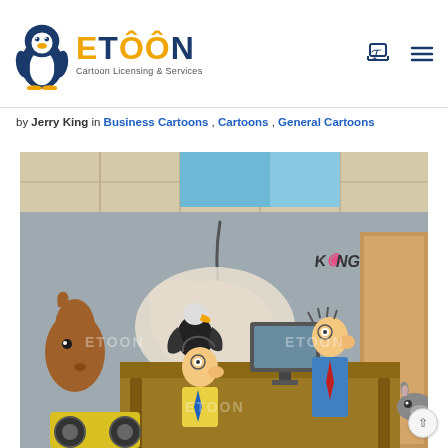ETOON Cartoon Licensing & Services
by Jerry King in Business Cartoons , Cartoons , General Cartoons
[Figure (illustration): A humorous business cartoon by Jerry King (signed 'KING') showing an office scene with crumbling walls. Various animal characters including a vulture/bird perched on a desk, a horse, a donkey, and human office workers. The office has a cracked/damaged wall with plaster falling off, a computer on the desk, and a door on the right. Watermark text 'ETOON' is visible multiple times.]